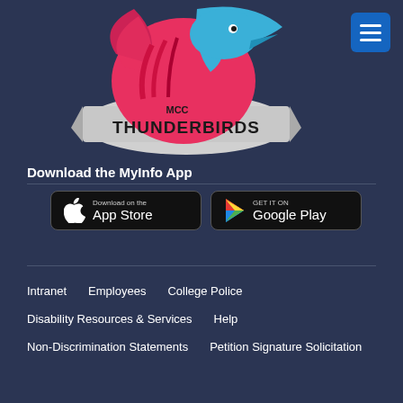[Figure (logo): MCC Thunderbirds logo with a stylized bird in red, pink and blue above the text THUNDERBIRDS on a banner]
[Figure (other): Blue hamburger menu button in top right corner]
Download the MyInfo App
[Figure (other): App Store download button (black rounded rectangle with Apple logo and 'Download on the App Store')]
[Figure (other): Google Play download button (black rounded rectangle with Play logo and 'GET IT ON Google Play')]
Intranet
Employees
College Police
Disability Resources & Services
Help
Non-Discrimination Statements
Petition Signature Solicitation